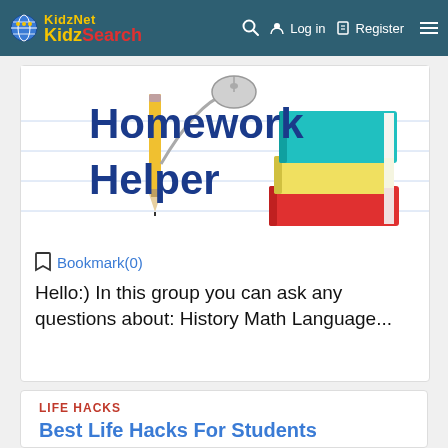KidzNet KidzSearch | Log in | Register
[Figure (illustration): Homework Helper banner image with text 'Homework Helper' in blue, a pencil, a computer mouse, and a stack of colorful books]
Bookmark(0)
Hello:) In this group you can ask any questions about: History Math Language...
LIFE HACKS
Best Life Hacks For Students